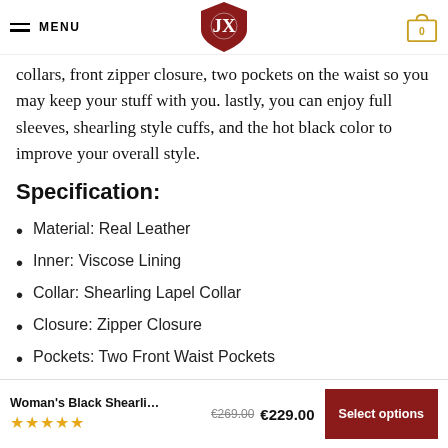MENU [logo] [cart: 0]
collars, front zipper closure, two pockets on the waist so you may keep your stuff with you. lastly, you can enjoy full sleeves, shearling style cuffs, and the hot black color to improve your overall style.
Specification:
Material: Real Leather
Inner: Viscose Lining
Collar: Shearling Lapel Collar
Closure: Zipper Closure
Pockets: Two Front Waist Pockets
Woman's Black Shearli... €269.00 €229.00 Select options ★★★★★